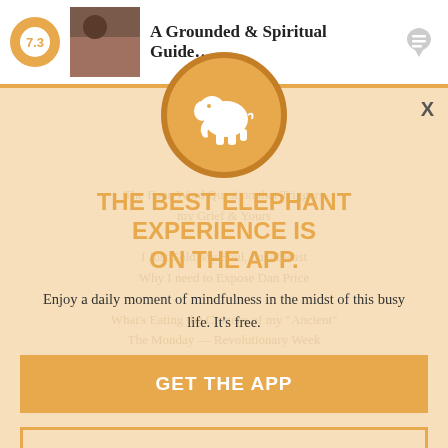7.3 | A Grounded & Spiritual Guide...
[Figure (logo): Elephant Journal app logo: white elephant silhouette on orange circle]
THE BEST ELEPHANT EXPERIENCE IS ON THE APP.
Enjoy a daily moment of mindfulness in the midst of this busy life. It's free.
GET THE APP
OPEN IN APP